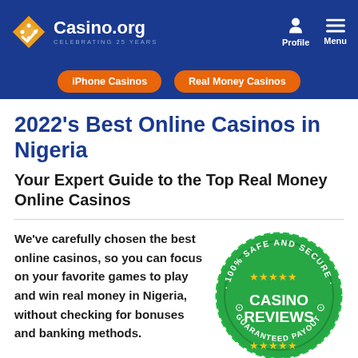Casino.org – CELEBRATING 25 YEARS | Profile | Menu
iPhone Casinos
Real Money Casinos
2022's Best Online Casinos in Nigeria
Your Expert Guide to the Top Real Money Online Casinos
We've carefully chosen the best online casinos, so you can focus on your favorite games to play and win real money in Nigeria, without checking for bonuses and banking methods.
[Figure (illustration): Green circular badge reading '100% SAFE AND SECURE' around the outside and 'CASINO REVIEWS' in large text in the center, with yellow stars and location pin icons, and 'GUARANTEED PAYOUT' at the bottom]